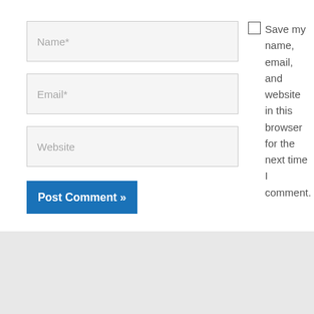[Figure (screenshot): Comment form with Name, Email, Website input fields, a checkbox with text 'Save my name, email, and website in this browser for the next time I comment.', a Post Comment button, and a search box below]
Name*
Email*
Website
Save my name, email, and website in this browser for the next time I comment.
Post Comment »
Search …